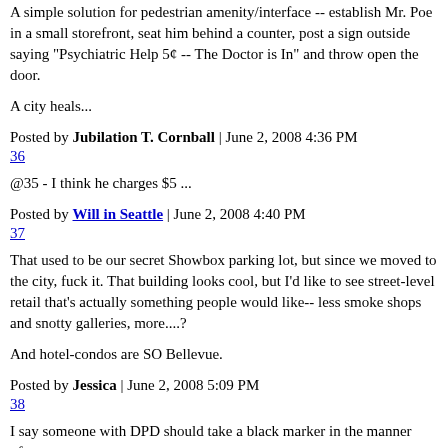A simple solution for pedestrian amenity/interface -- establish Mr. Poe in a small storefront, seat him behind a counter, post a sign outside saying "Psychiatric Help 5¢ -- The Doctor is In" and throw open the door.
A city heals...
Posted by Jubilation T. Cornball | June 2, 2008 4:36 PM
36
@35 - I think he charges $5 ...
Posted by Will in Seattle | June 2, 2008 4:40 PM
37
That used to be our secret Showbox parking lot, but since we moved to the city, fuck it. That building looks cool, but I'd like to see street-level retail that's actually something people would like-- less smoke shops and snotty galleries, more....?
And hotel-condos are SO Bellevue.
Posted by Jessica | June 2, 2008 5:09 PM
38
I say someone with DPD should take a black marker in the manner of...